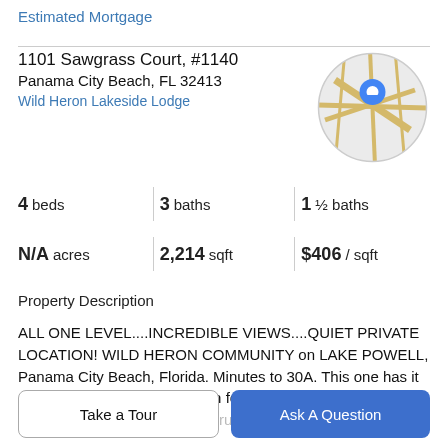Estimated Mortgage
1101 Sawgrass Court, #1140
Panama City Beach, FL 32413
Wild Heron Lakeside Lodge
[Figure (map): Circular map thumbnail with a blue location pin marker]
4 beds | 3 baths | 1 ½ baths
N/A acres | 2,214 sqft | $406 / sqft
Property Description
ALL ONE LEVEL....INCREDIBLE VIEWS....QUIET PRIVATE LOCATION! WILD HERON COMMUNITY on LAKE POWELL, Panama City Beach, Florida. Minutes to 30A. This one has it all! If you have an appreciation for authentic design, quality construction and the ultimate in
Take a Tour
Ask A Question